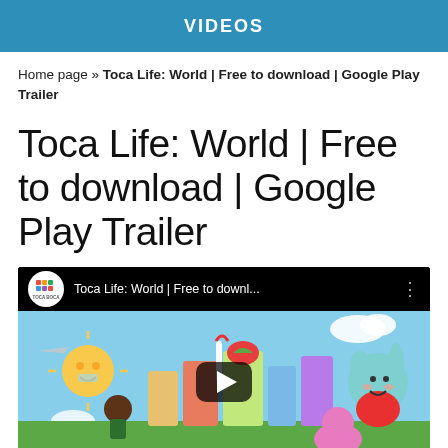VIDEOS
Home page » Toca Life: World | Free to download | Google Play Trailer
Toca Life: World | Free to download | Google Play Trailer
[Figure (screenshot): YouTube video thumbnail showing Toca Life: World Google Play trailer. The video bar shows the Toca Boca logo and title 'Toca Life: World | Free to downl...' on a dark background. The scene below shows colorful cartoon characters and a whimsical cityscape with a play button overlay.]